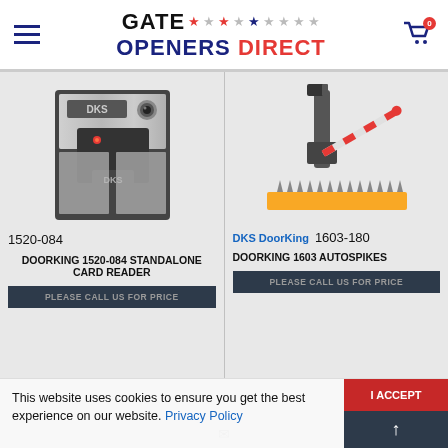Gate Openers Direct — navigation header with logo and cart
[Figure (photo): DKS DoorKing 1520-084 standalone card reader — stainless steel wall-mount unit with red LED and DKS badge]
1520-084
DOORKING 1520-084 STANDALONE CARD READER
PLEASE CALL US FOR PRICE
[Figure (photo): DKS DoorKing 1603-180 autospikes — parking barrier arm with spike strip on yellow base]
DKS DoorKing   1603-180
DOORKING 1603 AUTOSPIKES
PLEASE CALL US FOR PRICE
This website uses cookies to ensure you get the best experience on our website. Privacy Policy
I ACCEPT